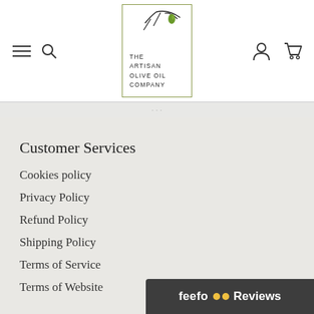[Figure (logo): The Artisan Olive Oil Company logo — olive branch with green olive inside a square border, with company name in spaced caps below the illustration]
Customer Services
Cookies policy
Privacy Policy
Refund Policy
Shipping Policy
Terms of Service
Terms of Website
[Figure (logo): Feefo logo with two yellow circle eyes, followed by Reviews text, on dark grey banner]